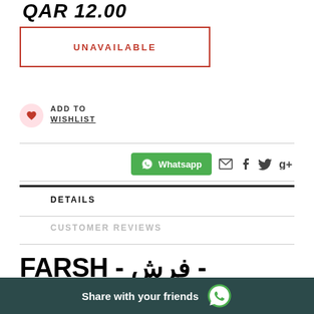QAR 12.00
UNAVAILABLE
ADD TO WISHLIST
[Figure (screenshot): Whatsapp share button and social icons (email, facebook, twitter, google+)]
DETAILS
CUSTOMER REVIEWS
FARSH - فرش - PAINTED SWEETLIPS
Share with your friends